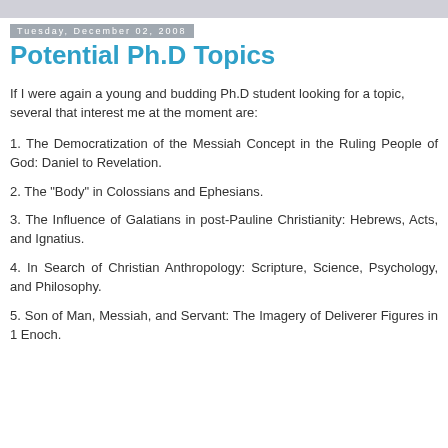Tuesday, December 02, 2008
Potential Ph.D Topics
If I were again a young and budding Ph.D student looking for a topic, several that interest me at the moment are:
1. The Democratization of the Messiah Concept in the Ruling People of God: Daniel to Revelation.
2. The "Body" in Colossians and Ephesians.
3. The Influence of Galatians in post-Pauline Christianity: Hebrews, Acts, and Ignatius.
4. In Search of Christian Anthropology: Scripture, Science, Psychology, and Philosophy.
5. Son of Man, Messiah, and Servant: The Imagery of Deliverer Figures in 1 Enoch.